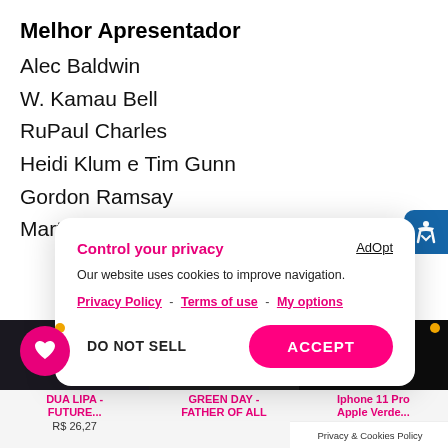Melhor Apresentador
Alec Baldwin
W. Kamau Bell
RuPaul Charles
Heidi Klum e Tim Gunn
Gordon Ramsay
Martha Stewart e Snoop Dogg
Control your privacy
Our website uses cookies to improve navigation.
Privacy Policy - Terms of use - My options
DO NOT SELL   ACCEPT
DUA LIPA - FUTURE...
R$ 26,27
GREEN DAY - FATHER OF ALL
Iphone 11 Pro Apple Verde...
Privacy & Cookies Policy